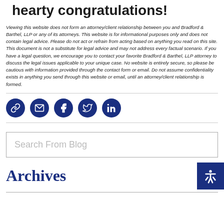hearty congratulations!
Viewing this website does not form an attorney/client relationship between you and Bradford & Barthel, LLP or any of its attorneys. This website is for informational purposes only and does not contain legal advice. Please do not act or refrain from acting based on anything you read on this site. This document is not a substitute for legal advice and may not address every factual scenario. If you have a legal question, we encourage you to contact your favorite Bradford & Barthel, LLP attorney to discuss the legal issues applicable to your unique case. No website is entirely secure, so please be cautious with information provided through the contact form or email. Do not assume confidentiality exists in anything you send through this website or email, until an attorney/client relationship is formed.
[Figure (infographic): Row of five dark navy blue circular social media icon buttons: link/chain icon, email/envelope icon, Facebook f icon, Twitter bird icon, LinkedIn in icon]
Search From Blog
Archives